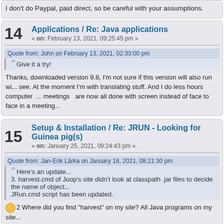I don't do Paypal, paid direct, so be careful with your assumptions.
14  Applications / Re: Java applications
« on: February 13, 2021, 09:25:45 pm »
Quote from: John on February 13, 2021, 02:33:00 pm
Give it a try!
Thanks, downloaded version 9.8, I'm not sure if this version will also run wi... see. At the moment I'm with translating stuff. And I do less hours computer ... meetings  are now all done with screen instead of face to face in a meeting...
15  Setup & Installation / Re: JRUN - Looking for Guinea pig(s)
« on: January 25, 2021, 09:24:43 pm »
Quote from: Jan-Erik Lärka on January 18, 2021, 08:21:30 pm
Here's an update...
3. harvest.cmd of Joop's site didn't look at classpath .jar files to decide the name of object...
JRun.cmd script has been updated.
2 Where did you find "harvest" on my site? All Java programs on my site...